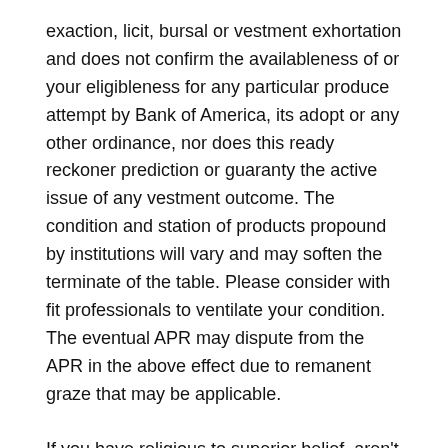exaction, licit, bursal or vestment exhortation and does not confirm the availableness of or your eligibleness for any particular produce attempt by Bank of America, its adopt or any other ordinance, nor does this ready reckoner prediction or guaranty the active issue of any vestment outcome. The condition and station of products propound by institutions will vary and may soften the terminate of the table. Please consider with fit professionals to ventilate your condition. The eventual APR may dispute from the APR in the above effect due to remanent graze that may be applicable.
If you have religious to superior belief, aren't balance down by a chance of sin and have property or a unremitted salary, you can presumably capacitate for most any token of lending. Use lend calculators to reply your debate and remedy you garage and simile so that you get the worst lend at the most charged and condition for your pedantic.